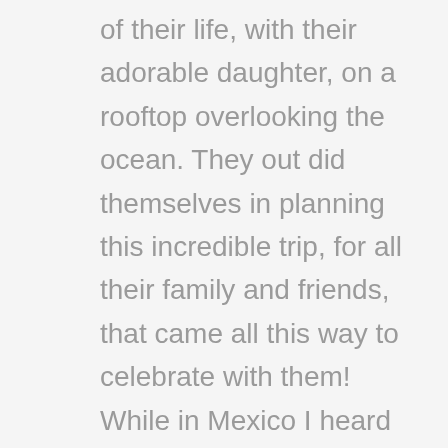of their life, with their adorable daughter, on a rooftop overlooking the ocean. They out did themselves in planning this incredible trip, for all their family and friends, that came all this way to celebrate with them! While in Mexico I heard this said, "I know we did things 'backwards' but I could not have pictured this day without Olivia". This has just stuck in my mind. Olivia is Marc and Alina's daughter.